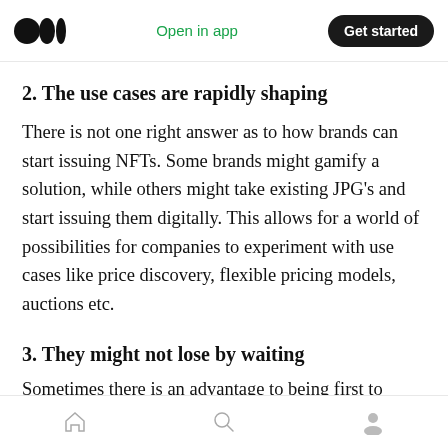Medium app header — Open in app | Get started
2. The use cases are rapidly shaping
There is not one right answer as to how brands can start issuing NFTs. Some brands might gamify a solution, while others might take existing JPG’s and start issuing them digitally. This allows for a world of possibilities for companies to experiment with use cases like price discovery, flexible pricing models, auctions etc.
3. They might not lose by waiting
Sometimes there is an advantage to being first to
Bottom navigation bar: Home, Search, Profile